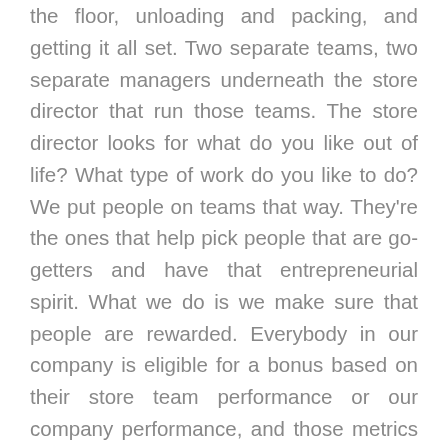the floor, unloading and packing, and getting it all set. Two separate teams, two separate managers underneath the store director that run those teams. The store director looks for what do you like out of life? What type of work do you like to do? We put people on teams that way. They're the ones that help pick people that are go-getters and have that entrepreneurial spirit. What we do is we make sure that people are rewarded. Everybody in our company is eligible for a bonus based on their store team performance or our company performance, and those metrics are known.
At the store director level, for example, that bonus is uncapped if we want them to feel like